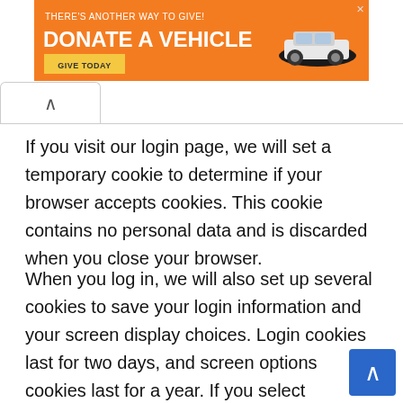[Figure (other): Orange advertisement banner: THERE'S ANOTHER WAY TO GIVE! DONATE A VEHICLE with a GIVE TODAY button and a white car graphic]
If you visit our login page, we will set a temporary cookie to determine if your browser accepts cookies. This cookie contains no personal data and is discarded when you close your browser.
When you log in, we will also set up several cookies to save your login information and your screen display choices. Login cookies last for two days, and screen options cookies last for a year. If you select “Remember Me”, your login will persist for two weeks. If you log out of your account, the login